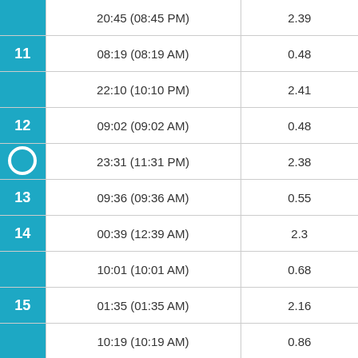| Day | Time | Value |
| --- | --- | --- |
|  | 20:45 (08:45 PM) | 2.39 |
| 11 | 08:19 (08:19 AM) | 0.48 |
|  | 22:10 (10:10 PM) | 2.41 |
| 12 | 09:02 (09:02 AM) | 0.48 |
| ○ | 23:31 (11:31 PM) | 2.38 |
| 13 | 09:36 (09:36 AM) | 0.55 |
| 14 | 00:39 (12:39 AM) | 2.3 |
|  | 10:01 (10:01 AM) | 0.68 |
| 15 | 01:35 (01:35 AM) | 2.16 |
|  | 10:19 (10:19 AM) | 0.86 |